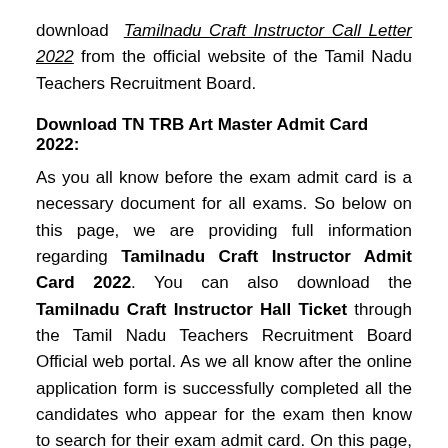download Tamilnadu Craft Instructor Call Letter 2022 from the official website of the Tamil Nadu Teachers Recruitment Board.
Download TN TRB Art Master Admit Card 2022:
As you all know before the exam admit card is a necessary document for all exams. So below on this page, we are providing full information regarding Tamilnadu Craft Instructor Admit Card 2022. You can also download the Tamilnadu Craft Instructor Hall Ticket through the Tamil Nadu Teachers Recruitment Board Official web portal. As we all know after the online application form is successfully completed all the candidates who appear for the exam then know to search for their exam admit card. On this page, we provide the